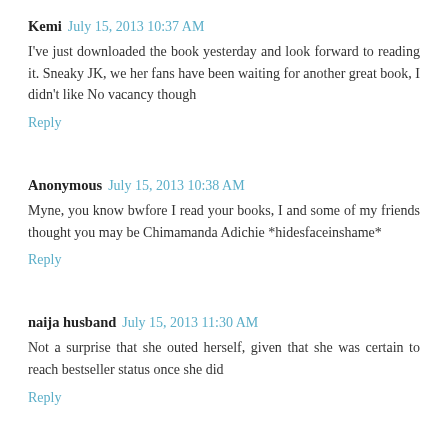Kemi  July 15, 2013 10:37 AM
I've just downloaded the book yesterday and look forward to reading it. Sneaky JK, we her fans have been waiting for another great book, I didn't like No vacancy though
Reply
Anonymous  July 15, 2013 10:38 AM
Myne, you know bwfore I read your books, I and some of my friends thought you may be Chimamanda Adichie *hidesfaceinshame*
Reply
naija husband  July 15, 2013 11:30 AM
Not a surprise that she outed herself, given that she was certain to reach bestseller status once she did
Reply